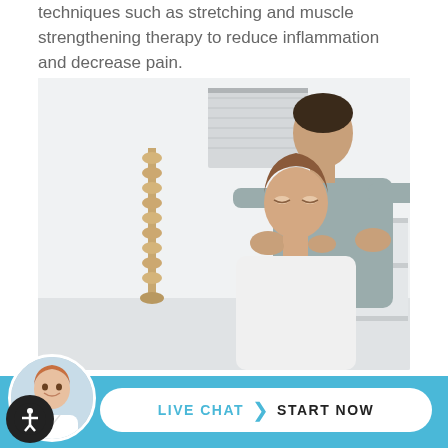techniques such as stretching and muscle strengthening therapy to reduce inflammation and decrease pain.
[Figure (photo): A chiropractor or physical therapist standing behind a seated female patient, performing neck manipulation in a clinical room with a spine model and shelving visible in the background.]
During [acute]
[Figure (infographic): Live chat button bar with female avatar, 'LIVE CHAT' label and 'START NOW' call to action in a white rounded pill on a blue background.]
al manipulation during this phase to help realign your neck muscles and your spine. As your neck begins